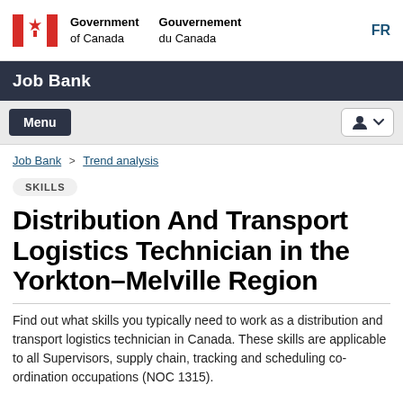Government of Canada / Gouvernement du Canada
Job Bank
Menu
Job Bank > Trend analysis
SKILLS
Distribution And Transport Logistics Technician in the Yorkton–Melville Region
Find out what skills you typically need to work as a distribution and transport logistics technician in Canada. These skills are applicable to all Supervisors, supply chain, tracking and scheduling co-ordination occupations (NOC 1315).